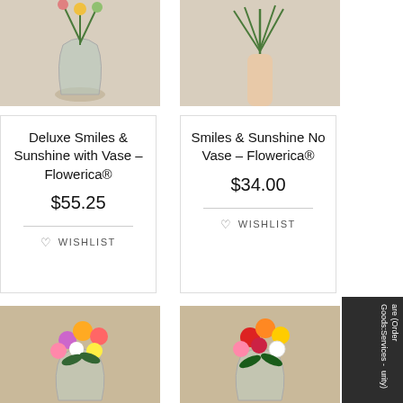[Figure (photo): Top-left product photo: flower arrangement in a glass vase on a neutral background]
[Figure (photo): Top-right product photo: hand holding a bouquet of flowers, no vase]
Deluxe Smiles & Sunshine with Vase – Flowerica®
$55.25
WISHLIST
Smiles & Sunshine No Vase – Flowerica®
$34.00
WISHLIST
[Figure (photo): Bottom-left product photo: colorful mixed flower bouquet in a glass vase]
[Figure (photo): Bottom-right product photo: colorful mixed roses bouquet in a glass vase]
are (Order Goods:Services - …urity)